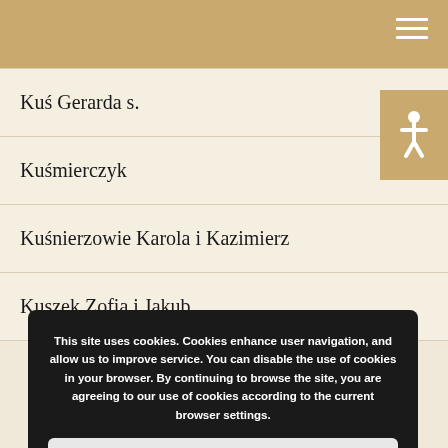Kuś Gerarda s.
Kuśmierczyk
Kuśnierzowie Karola i Kazimierz
Kuszek Zofia i Jakub
This site uses cookies. Cookies enhance user navigation, and allow us to improve service. You can disable the use of cookies in your browser. By continuing to browse the site, you are agreeing to our use of cookies according to the current browser settings.
Close
The Ulma Family ... Saving Jews